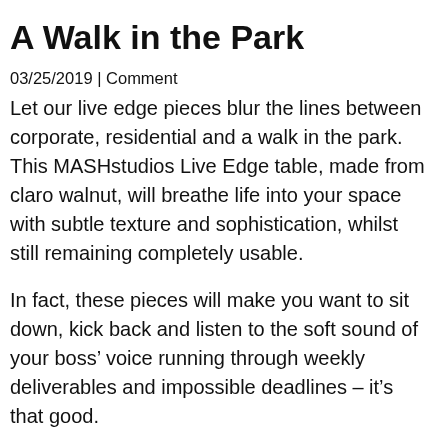A Walk in the Park
03/25/2019 | Comment
Let our live edge pieces blur the lines between corporate, residential and a walk in the park. This MASHstudios Live Edge table, made from claro walnut, will breathe life into your space with subtle texture and sophistication, whilst still remaining completely usable.
In fact, these pieces will make you want to sit down, kick back and listen to the soft sound of your boss’ voice running through weekly deliverables and impossible deadlines – it’s that good.